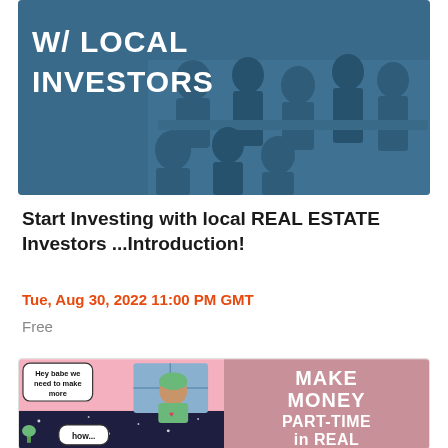[Figure (photo): Banner image showing people sitting around tables at a networking/investing event with blue tint overlay. Text overlay reads 'W/ LOCAL INVESTORS' in large white bold uppercase letters.]
Start Investing with local REAL ESTATE Investors ...Introduction!
Tue, Aug 30, 2022 11:00 PM GMT
Free
[Figure (illustration): Two-panel image: left panel shows a comic-style illustration of a woman with a green hair wrap saying 'Hey babe we need to make more' and a speech bubble at the bottom saying 'how...'. Right panel on pink/mauve background has bold white text reading 'MAKE MONEY PART-TIME in REAL'.]